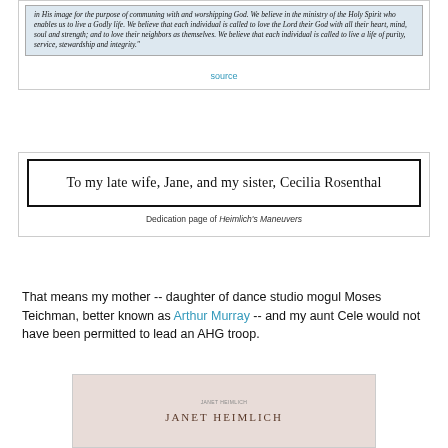in His image for the purpose of communing with and worshipping God. We believe in the ministry of the Holy Spirit who enables us to live a Godly life. We believe that each individual is called to love the Lord their God with all their heart, mind, soul and strength; and to love their neighbors as themselves. We believe that each individual is called to live a life of purity, service, stewardship and integrity."
source
[Figure (other): Dedication page excerpt from Heimlich's Maneuvers reading: To my late wife, Jane, and my sister, Cecilia Rosenthal]
Dedication page of Heimlich's Maneuvers
That means my mother -- daughter of dance studio mogul Moses Teichman, better known as Arthur Murray -- and my aunt Cele would not have been permitted to lead an AHG troop.
[Figure (photo): Book cover showing author name JANET HEIMLICH on a light pink/beige background with small text above]